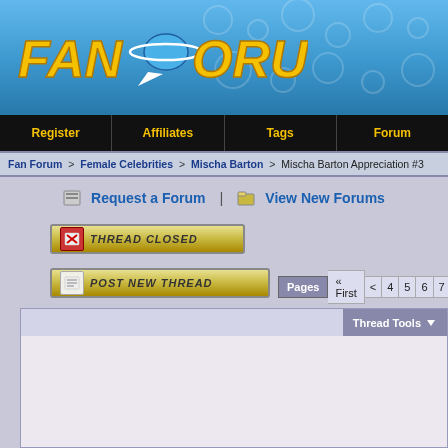[Figure (logo): Fan Forum logo with yellow italic text on blue banner background]
Register | Affiliates | Tags | Forum
Fan Forum > Female Celebrities > Mischa Barton > Mischa Barton Appreciation #3
Request a Forum | View New Forums
[Figure (screenshot): Thread Closed button]
[Figure (screenshot): Post New Thread button]
Pages « First < 4 5 6 7 8 9 10 11 12 > L
Thread Tools
Post content area (empty)